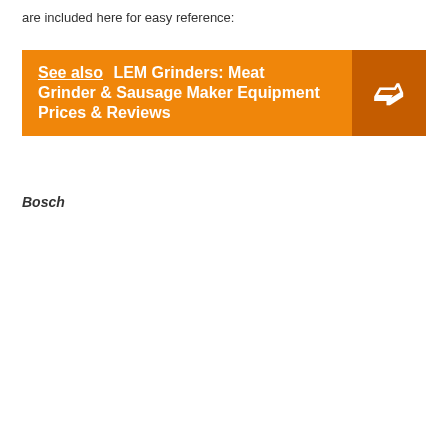are included here for easy reference:
[Figure (infographic): Orange banner with 'See also' underlined label and 'LEM Grinders: Meat Grinder & Sausage Maker Equipment Prices & Reviews' text, with a dark orange right-arrow button on the right side.]
Bosch